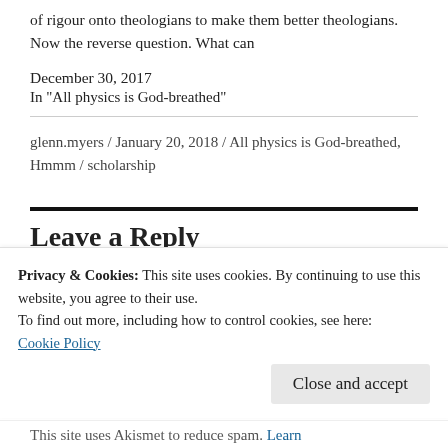of rigour onto theologians to make them better theologians. Now the reverse question. What can
December 30, 2017
In "All physics is God-breathed"
glenn.myers / January 20, 2018 / All physics is God-breathed, Hmmm / scholarship
Leave a Reply
Privacy & Cookies: This site uses cookies. By continuing to use this website, you agree to their use.
To find out more, including how to control cookies, see here: Cookie Policy
Close and accept
This site uses Akismet to reduce spam. Learn